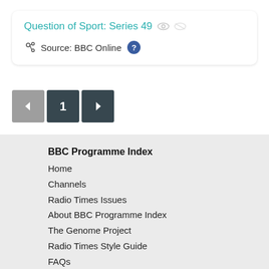Question of Sport: Series 49
Source: BBC Online
< 1 >
BBC Programme Index
Home
Channels
Radio Times Issues
About BBC Programme Index
The Genome Project
Radio Times Style Guide
FAQs
Contact Us